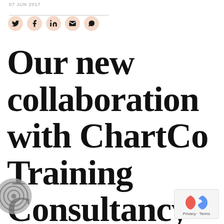07 JUN 2017
[Figure (infographic): Social share icons: Twitter, Facebook, LinkedIn, Email, WhatsApp — circular peach/salmon background buttons]
Our new collaboration with ChartCo Training Consultancy